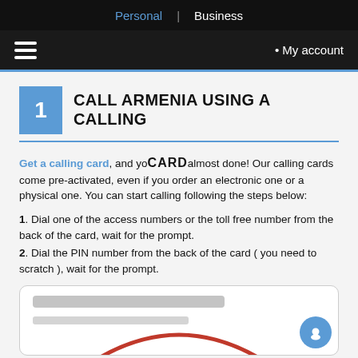Personal | Business
≡  • My account
1  CALL ARMENIA USING A CALLING CARD
Get a calling card, and you are almost done! Our calling cards come pre-activated, even if you order an electronic one or a physical one. You can start calling following the steps below:
1. Dial one of the access numbers or the toll free number from the back of the card, wait for the prompt.
2. Dial the PIN number from the back of the card ( you need to scratch ), wait for the prompt.
[Figure (screenshot): Blurred form fields with a red arc/circle partially visible at the bottom, and a blue chat button in the bottom right corner.]